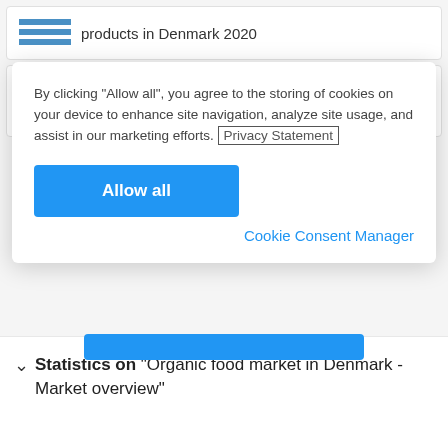[Figure (screenshot): Partial card showing horizontal bar chart icon and text 'products in Denmark 2020']
[Figure (screenshot): Partial card showing bar chart bars and a green plus button]
By clicking “Allow all”, you agree to the storing of cookies on your device to enhance site navigation, analyze site usage, and assist in our marketing efforts. Privacy Statement
Allow all
Cookie Consent Manager
Statistics on "Organic food market in Denmark - Market overview"